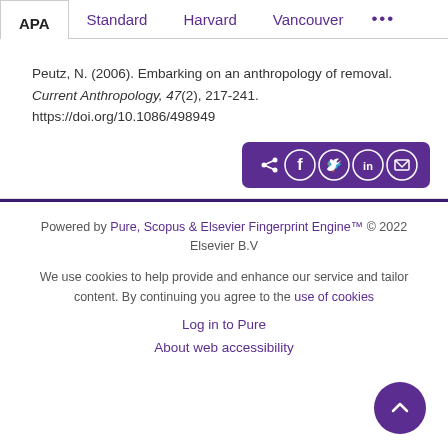APA | Standard | Harvard | Vancouver | ...
Peutz, N. (2006). Embarking on an anthropology of removal. Current Anthropology, 47(2), 217-241. https://doi.org/10.1086/498949
[Figure (other): Share buttons row: share icon, Facebook, Twitter, LinkedIn, Email on purple background]
Powered by Pure, Scopus & Elsevier Fingerprint Engine™ © 2022 Elsevier B.V
We use cookies to help provide and enhance our service and tailor content. By continuing you agree to the use of cookies
Log in to Pure
About web accessibility